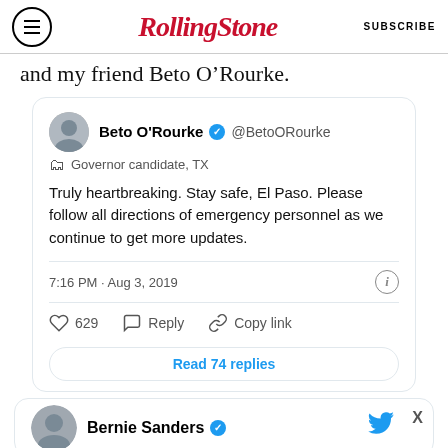Rolling Stone | SUBSCRIBE
and my friend Beto O’Rourke.
[Figure (screenshot): Embedded tweet from Beto O'Rourke @BetoORourke, Governor candidate TX. Tweet text: Truly heartbreaking. Stay safe, El Paso. Please follow all directions of emergency personnel as we continue to get more updates. Timestamp: 7:16 PM · Aug 3, 2019. 629 likes. Read 74 replies.]
[Figure (screenshot): Partial tweet from Bernie Sanders with verified badge and Twitter bird icon. Ad bar at bottom: SPY SMART HOME AWARDS 75 BEST GADGETS OF 2022.]